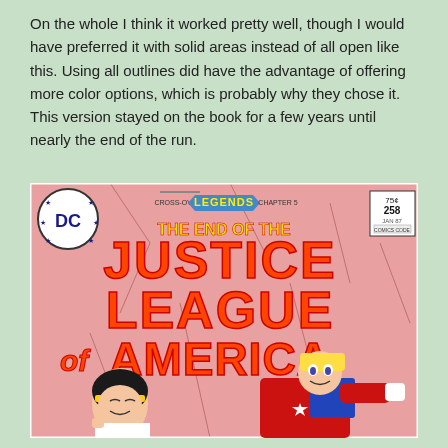On the whole I think it worked pretty well, though I would have preferred it with solid areas instead of all open like this. Using all outlines did have the advantage of offering more color options, which is probably why they chose it. This version stayed on the book for a few years until nearly the end of the run.
[Figure (illustration): Comic book cover: DC Comics - Legends Cross-Over Chapter 5. Title reads 'THE END OF THE JUSTICE LEAGUE of AMERICA'. Issue #258, priced 75 cents, dated Jan 87. Features two characters on a pink/salmon cracked background - a dark-haired woman in white and a superhero in red/blue/white costume.]